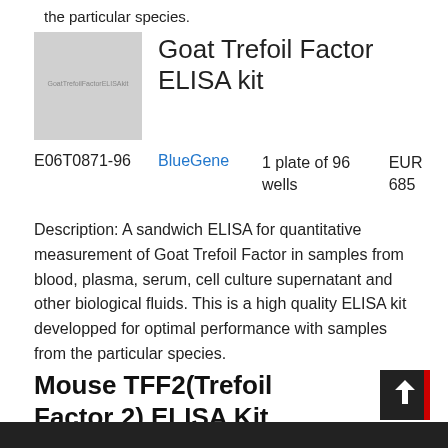the particular species.
Goat Trefoil Factor ELISA kit
[Figure (photo): Product image placeholder showing 'Goat Trefoil Factor ELISA kit' text on grey background]
| Code | Brand | Quantity | Price |
| --- | --- | --- | --- |
| E06T0871-96 | BlueGene | 1 plate of 96 wells | EUR 685 |
Description: A sandwich ELISA for quantitative measurement of Goat Trefoil Factor in samples from blood, plasma, serum, cell culture supernatant and other biological fluids. This is a high quality ELISA kit developped for optimal performance with samples from the particular species.
Mouse TFF2(Trefoil Factor 2) ELISA Kit